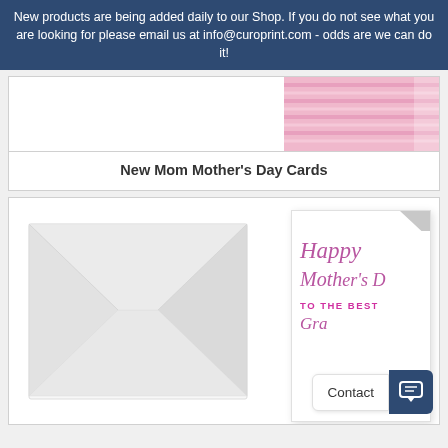New products are being added daily to our Shop. If you do not see what you are looking for please email us at info@curoprint.com - odds are we can do it!
[Figure (photo): Product image showing pink ribbon/material on white background, associated with New Mom Mother's Day Cards]
New Mom Mother's Day Cards
[Figure (photo): White envelope with a greeting card showing 'Happy Mother's Day TO THE BEST' in pink cursive and bold text, with a Contact button overlay in the corner]